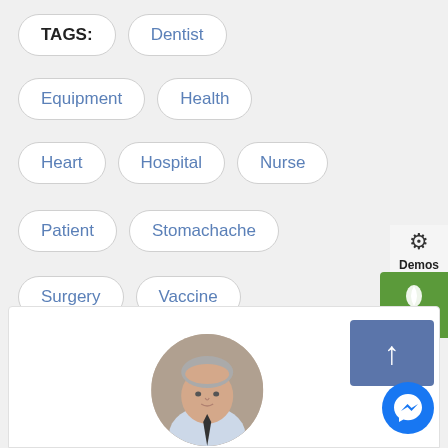TAGS:
Dentist
Equipment
Health
Heart
Hospital
Nurse
Patient
Stomachache
Surgery
Vaccine
Demos
Buy Now
[Figure (photo): Circular portrait photo of a middle-aged man in a light blue shirt with a dark tie, gray hair, against a neutral background.]